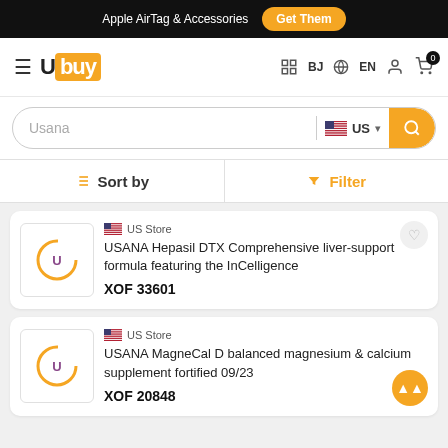Apple AirTag & Accessories  Get Them
[Figure (logo): Ubuy logo with orange square background, navigation icons for BJ, EN, user, and cart with badge 0]
[Figure (screenshot): Search bar with text 'Usana', US flag dropdown, and orange search button]
Sort by  Filter
US Store
USANA Hepasil DTX Comprehensive liver-support formula featuring the InCelligence
XOF 33601
US Store
USANA MagneCal D balanced magnesium & calcium supplement fortified 09/23
XOF 20848